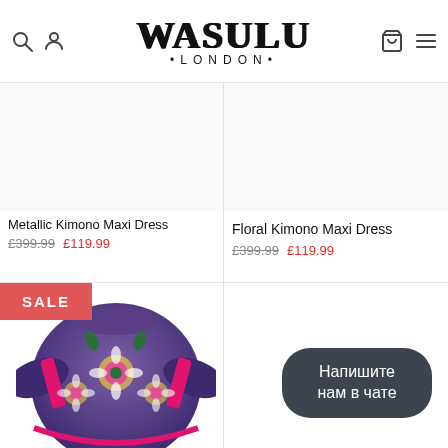[Figure (logo): Wasulu London logo with decorative serif font and subtitle •LONDON•]
[Figure (photo): Product image area for Metallic Kimono Maxi Dress (top left, white/light background)]
Metallic Kimono Maxi Dress
£399.99  £119.99
[Figure (photo): Product image area for Floral Kimono Maxi Dress (top right, white/light background)]
Floral Kimono Maxi Dress
£399.99  £119.99
[Figure (photo): Floral kimono dress photo - purple/navy with pink and floral print, off-shoulder style with flared sleeves. SALE badge overlay.]
SALE
Напишите нам в чате